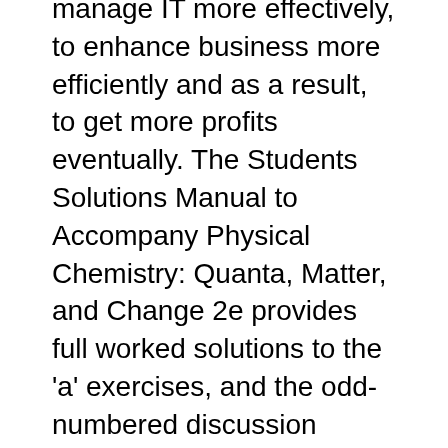manage IT more effectively, to enhance business more efficiently and as a result, to get more profits eventually. The Students Solutions Manual to Accompany Physical Chemistry: Quanta, Matter, and Change 2e provides full worked solutions to the 'a' exercises, and the odd-numbered discussion questions and problems presented in the parent book. The manual is intended for students and instructors alike, and provides helpful comments and friendly advice to aid understanding.
29/11/2015B B· Buy Quanta, Matter, and Change: A molecular approach to physical chemistry by Peter Atkins, Julio